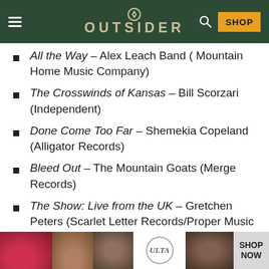OUTSIDER
All the Way – Alex Leach Band ( Mountain Home Music Company)
The Crosswinds of Kansas – Bill Scorzari (Independent)
Done Come Too Far – Shemekia Copeland (Alligator Records)
Bleed Out – The Mountain Goats (Merge Records)
The Show: Live from the UK – Gretchen Peters (Scarlet Letter Records/Proper Music
[Figure (other): Advertisement banner for ULTA beauty products showing makeup images and SHOP NOW text]